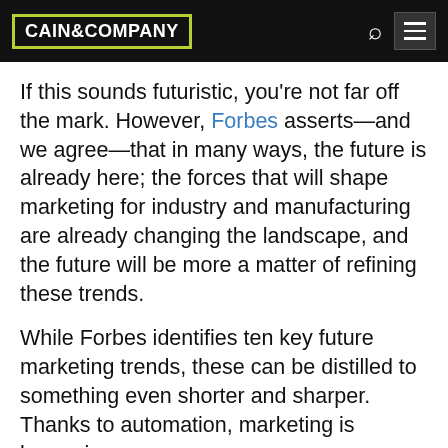CAIN & COMPANY
If this sounds futuristic, you’re not far off the mark. However, Forbes asserts—and we agree—that in many ways, the future is already here; the forces that will shape marketing for industry and manufacturing are already changing the landscape, and the future will be more a matter of refining these trends.
While Forbes identifies ten key future marketing trends, these can be distilled to something even shorter and sharper. Thanks to automation, marketing is becoming:
Personalized, relevant, and story driven: